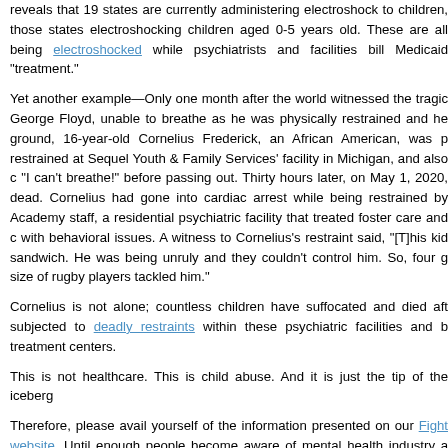reveals that 19 states are currently administering electroshock to children, those states electroshocking children aged 0-5 years old. These are all being electroshocked while psychiatrists and facilities bill Medicaid "treatment."
Yet another example—Only one month after the world witnessed the tragic George Floyd, unable to breathe as he was physically restrained and held to the ground, 16-year-old Cornelius Frederick, an African American, was physically restrained at Sequel Youth & Family Services' facility in Michigan, and also cried "I can't breathe!" before passing out. Thirty hours later, on May 1, 2020, he was dead. Cornelius had gone into cardiac arrest while being restrained by Lakeside Academy staff, a residential psychiatric facility that treated foster care and children with behavioral issues. A witness to Cornelius's restraint said, "[T]his kid stole a sandwich. He was being unruly and they couldn't control him. So, four guys the size of rugby players tackled him."
Cornelius is not alone; countless children have suffocated and died after being subjected to deadly restraints within these psychiatric facilities and behavioral treatment centers.
This is not healthcare. This is child abuse. And it is just the tip of the iceberg.
Therefore, please avail yourself of the information presented on our Fight For Kids website. Until enough people become aware of mental health industry abuses of children and teens, and arm themselves with the facts to protect not only their own children, but advocate for those who have no voice, it will continue. The profits keep rolling in, parents will suffer and children will be abused.
This is the Fight For Kids.